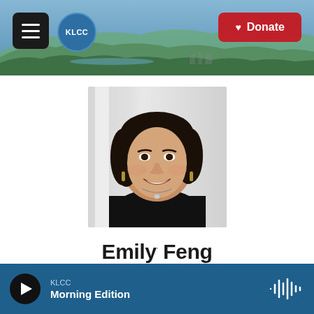KLCC header with hamburger menu, KLCC logo, and Donate button
[Figure (photo): Headshot photo of Emily Feng, a woman with short dark wavy hair, wearing a black turtleneck and hoop earrings, smiling, with a blurred indoor background]
Emily Feng
KLCC Morning Edition (audio player bar with play button and waveform icon)